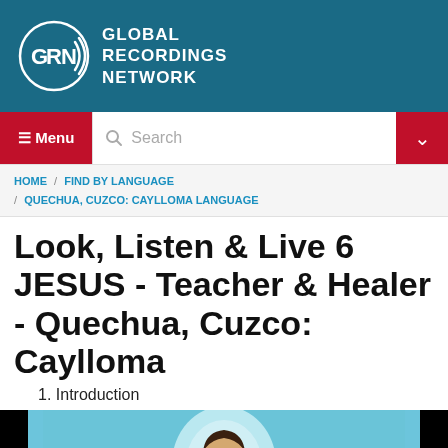[Figure (logo): Global Recordings Network logo with GRN letters and sound wave arcs, white on teal background, with text GLOBAL RECORDINGS NETWORK]
≡ Menu  Search
HOME / FIND BY LANGUAGE / QUECHUA, CUZCO: CAYLLOMA LANGUAGE
Look, Listen & Live 6 JESUS - Teacher & Healer - Quechua, Cuzco: Caylloma
1. Introduction
[Figure (illustration): Illustration of Jesus with raised hand, wearing white robe, against a light blue sky background with halo, in cartoon style]